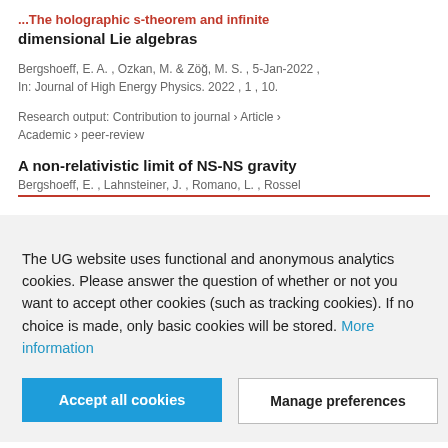The holographic s-theorem and infinite dimensional Lie algebras
Bergshoeff, E. A. , Ozkan, M. & Zöğ, M. S. , 5-Jan-2022 , In: Journal of High Energy Physics. 2022 , 1 , 10.
Research output: Contribution to journal › Article › Academic › peer-review
A non-relativistic limit of NS-NS gravity
Bergshoeff, E. , Lahnsteiner, J., Romano, L., Rossel...
The UG website uses functional and anonymous analytics cookies. Please answer the question of whether or not you want to accept other cookies (such as tracking cookies). If no choice is made, only basic cookies will be stored. More information
Accept all cookies
Manage preferences